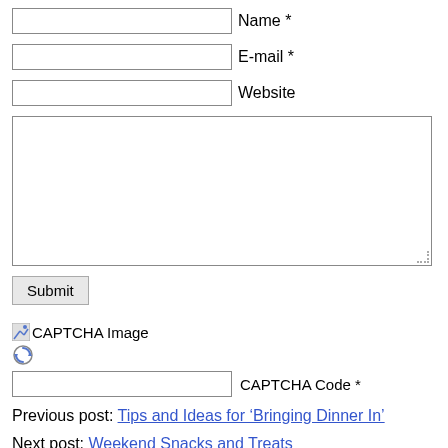Name *
E-mail *
Website
Submit
[Figure (other): CAPTCHA Image placeholder with broken image icon]
CAPTCHA Code *
Previous post: Tips and Ideas for ‘Bringing Dinner In’
Next post: Weekend Snacks and Treats